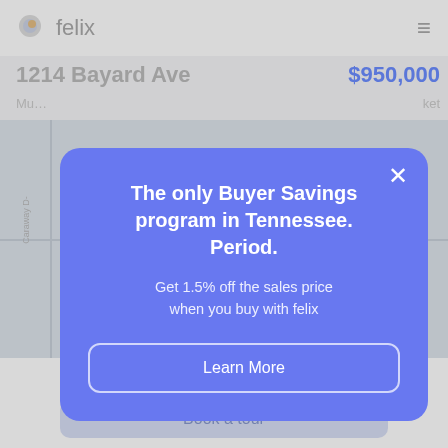[Figure (screenshot): Mobile app screenshot showing felix real estate app with address 1214 Bayard Ave, price $950,000, and a map view in the background]
The only Buyer Savings program in Tennessee. Period.
Get 1.5% off the sales price when you buy with felix
Learn More